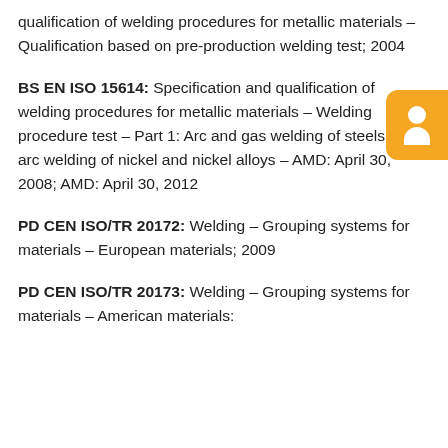qualification of welding procedures for metallic materials – Qualification based on pre-production welding test; 2004
BS EN ISO 15614: Specification and qualification of welding procedures for metallic materials – Welding procedure test – Part 1: Arc and gas welding of steels and arc welding of nickel and nickel alloys – AMD: April 30, 2008; AMD: April 30, 2012
PD CEN ISO/TR 20172: Welding – Grouping systems for materials – European materials; 2009
PD CEN ISO/TR 20173: Welding – Grouping systems for materials – American materials;